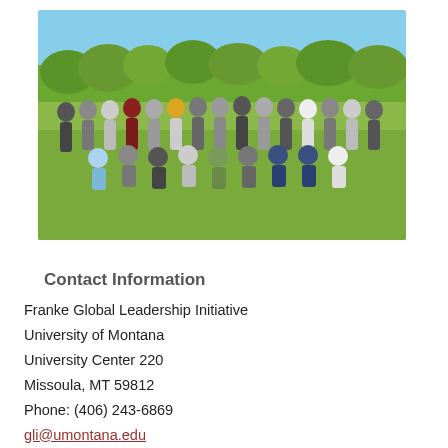[Figure (photo): Group photo of approximately 25 students and faculty posing outdoors on a grassy field on a sunny day with trees in the background.]
Contact Information
Franke Global Leadership Initiative
University of Montana
University Center 220
Missoula, MT 59812
Phone: (406) 243-6869
gli@umontana.edu
Refer a Griz   About UM